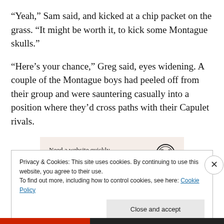“Yeah,” Sam said, and kicked at a chip packet on the grass. “It might be worth it, to kick some Montague skulls.”
“Here’s your chance,” Greg said, eyes widening. A couple of the Montague boys had peeled off from their group and were sauntering casually into a position where they’d cross paths with their Capulet rivals.
[Figure (other): Advertisement banner: 'Need a website quickly – and on a budget?' with WordPress logo on beige/pink background]
Privacy & Cookies: This site uses cookies. By continuing to use this website, you agree to their use.
To find out more, including how to control cookies, see here: Cookie Policy
Close and accept